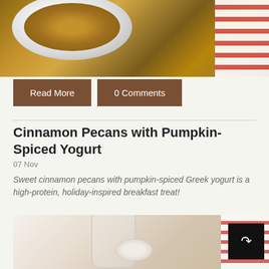[Figure (photo): Overhead photo of a white bowl filled with oatmeal topped with cinnamon pecans and syrup, on a wooden surface with a red and white striped cloth]
Read More
0 Comments
Cinnamon Pecans with Pumpkin-Spiced Yogurt
07 Nov
Sweet cinnamon pecans with pumpkin-spiced Greek yogurt is a high-protein, holiday-inspired breakfast treat!
[Figure (photo): Photo of a glass and small bowl of pumpkin-spiced yogurt with cinnamon pecans on a red and white striped cloth, with a share button overlay]